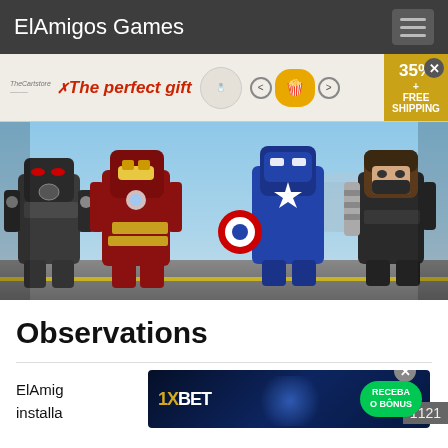ElAmigos Games
[Figure (screenshot): Advertisement banner showing 'The perfect gift' with popcorn bowl and navigation arrows, 35% + FREE SHIPPING offer]
[Figure (photo): LEGO Marvel characters including War Machine, Iron Man, Captain America, and Winter Soldier standing on a runway]
Observations
ElAmig... installa... 1121
[Figure (screenshot): 1XBET advertisement banner with RECEBA O BONUS button]